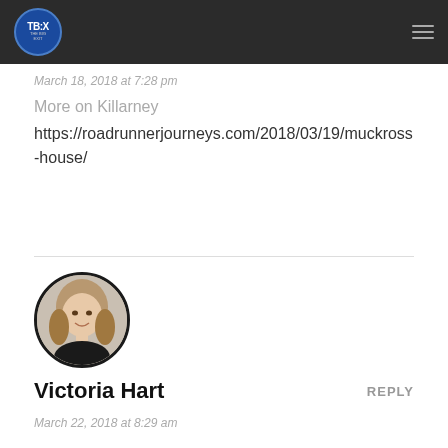TBX logo and navigation header
March 18, 2018 at 7:28 pm
More on Killarney
https://roadrunnerjourneys.com/2018/03/19/muckross-house/
[Figure (photo): Circular avatar photo of Victoria Hart, a woman with medium-length blonde/brown hair and a black top, smiling.]
Victoria Hart
REPLY
March 22, 2018 at 8:29 am